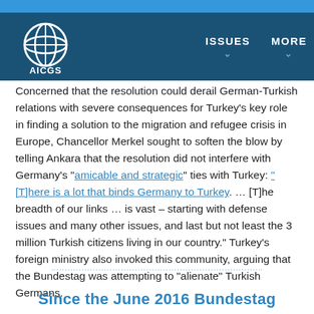AICGS | ISSUES | MORE
Concerned that the resolution could derail German-Turkish relations with severe consequences for Turkey's key role in finding a solution to the migration and refugee crisis in Europe, Chancellor Merkel sought to soften the blow by telling Ankara that the resolution did not interfere with Germany's “amicable and strategic” ties with Turkey: “[T]here is a lot that binds Germany to Turkey. … [T]he breadth of our links … is vast – starting with defense issues and many other issues, and last but not least the 3 million Turkish citizens living in our country.” Turkey’s foreign ministry also invoked this community, arguing that the Bundestag was attempting to “alienate” Turkish Germans.
Since the June 2016 Bundestag